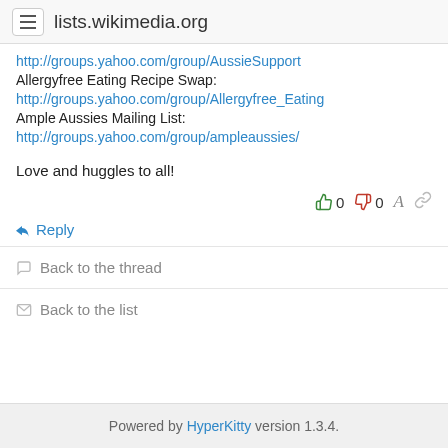lists.wikimedia.org
http://groups.yahoo.com/group/AussieSupport
Allergyfree Eating Recipe Swap:
http://groups.yahoo.com/group/Allergyfree_Eating
Ample Aussies Mailing List:
http://groups.yahoo.com/group/ampleaussies/
Love and huggles to all!
👍 0  👎 0  A  🔗
↩ Reply
💬 Back to the thread
✉ Back to the list
Powered by HyperKitty version 1.3.4.